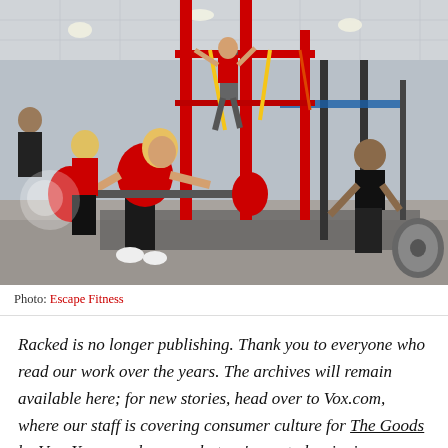[Figure (photo): People working out in a gym with red and black exercise equipment. A woman in a red shirt is in the foreground lifting a barbell with red plates. A man in red is climbing bars overhead. Others are exercising in the background including someone doing battle ropes.]
Photo: Escape Fitness
Racked is no longer publishing. Thank you to everyone who read our work over the years. The archives will remain available here; for new stories, head over to Vox.com, where our staff is covering consumer culture for The Goods by Vox. You can also see what we're up to by signing up here.